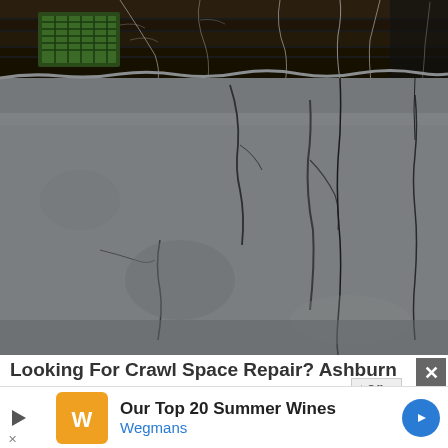[Figure (photo): Photo of a crawl space interior showing a cracked concrete block foundation wall with cobwebs, exposed wiring hanging down, and a small mesh-covered vent window in the upper left. The wall shows significant cracking and deterioration. The ceiling shows dark wood beams.]
Looking For Crawl Space Repair? Ashburn Residents Could Benefit From 2022 Prices
[Figure (infographic): Advertisement banner for Wegmans featuring their logo (orange square with crown-like symbol), text 'Our Top 20 Summer Wines' in bold, 'Wegmans' in blue, a blue play/arrow triangle on the left side, and a blue diamond-shaped navigation arrow on the right.]